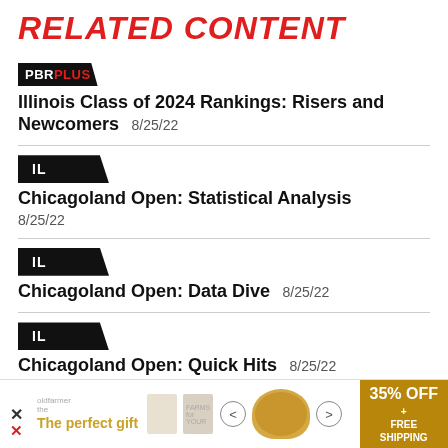RELATED CONTENT
[Figure (logo): PBR PLUS badge logo (black parallelogram badge with white PBR and red PLUS text)]
Illinois Class of 2024 Rankings: Risers and Newcomers  8/25/22
[Figure (logo): IL state badge logo (black parallelogram with white IL text)]
Chicagoland Open: Statistical Analysis  8/25/22
[Figure (logo): IL state badge logo (black parallelogram with white IL text)]
Chicagoland Open: Data Dive  8/25/22
[Figure (logo): IL state badge logo (black parallelogram with white IL text)]
Chicagoland Open: Quick Hits  8/25/22
[Figure (infographic): Advertisement banner: The perfect gift, 35% OFF + FREE SHIPPING]